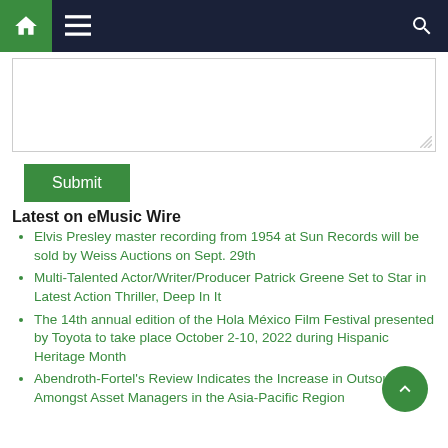Navigation bar with home, menu, and search icons
[Figure (screenshot): Text input textarea with resize handle]
Submit
Latest on eMusic Wire
Elvis Presley master recording from 1954 at Sun Records will be sold by Weiss Auctions on Sept. 29th
Multi-Talented Actor/Writer/Producer Patrick Greene Set to Star in Latest Action Thriller, Deep In It
The 14th annual edition of the Hola México Film Festival presented by Toyota to take place October 2-10, 2022 during Hispanic Heritage Month
Abendroth-Fortel's Review Indicates the Increase in Outsourcing Amongst Asset Managers in the Asia-Pacific Region